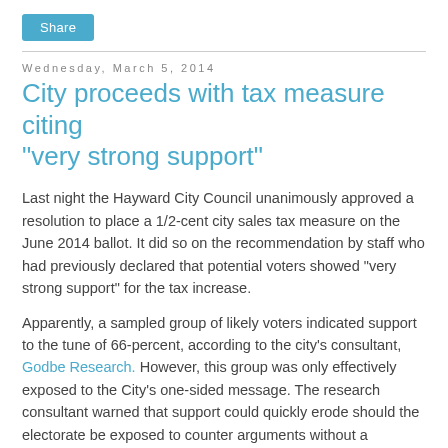[Figure (other): Share button — teal/blue rounded rectangle with white text 'Share']
Wednesday, March 5, 2014
City proceeds with tax measure citing “very strong support”
Last night the Hayward City Council unanimously approved a resolution to place a 1/2-cent city sales tax measure on the June 2014 ballot. It did so on the recommendation by staff who had previously declared that potential voters showed "very strong support" for the tax increase.
Apparently, a sampled group of likely voters indicated support to the tune of 66-percent, according to the city’s consultant, Godbe Research. However, this group was only effectively exposed to the City’s one-sided message. The research consultant warned that support could quickly erode should the electorate be exposed to counter arguments without a sustained campaign in favor of the measure. To foster such a campaign, the Council previously